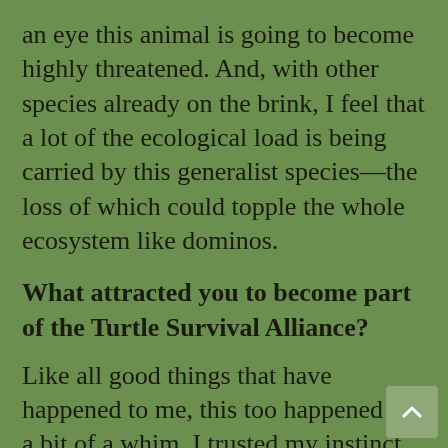an eye this animal is going to become highly threatened. And, with other species already on the brink, I feel that a lot of the ecological load is being carried by this generalist species—the loss of which could topple the whole ecosystem like dominos.
What attracted you to become part of the Turtle Survival Alliance?
Like all good things that have happened to me, this too happened on a bit of a whim. I trusted my instinct and joined and within a few weeks realized how special the Turtle Survival Alliance truly